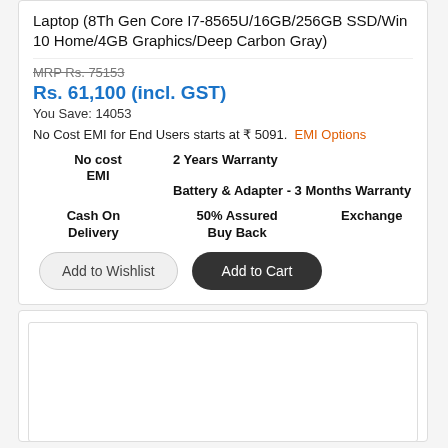Laptop (8Th Gen Core I7-8565U/16GB/256GB SSD/Win 10 Home/4GB Graphics/Deep Carbon Gray)
MRP Rs. 75153
Rs. 61,100 (incl. GST)
You Save: 14053
No Cost EMI for End Users starts at ₹ 5091.  EMI Options
No cost EMI   2 Years Warranty
Battery & Adapter - 3 Months Warranty
Cash On Delivery   50% Assured Buy Back   Exchange
Add to Wishlist  Add to Cart